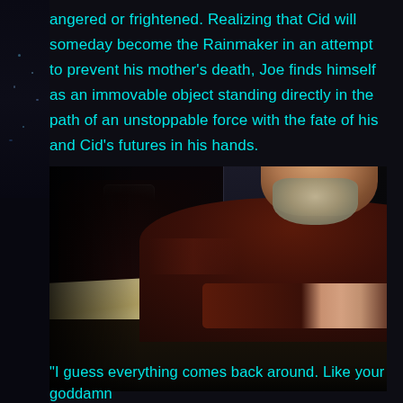angered or frightened. Realizing that Cid will someday become the Rainmaker in an attempt to prevent his mother's death, Joe finds himself as an immovable object standing directly in the path of an unstoppable force with the fate of his and Cid's futures in his hands.
[Figure (photo): A middle-aged bearded man with grey-blond hair wearing a dark red/maroon sweater, seated at a table covered with papers and a glass, looking contemplative. Dark cinematic scene from the movie Looper.]
"I guess everything comes back around. Like your goddamn